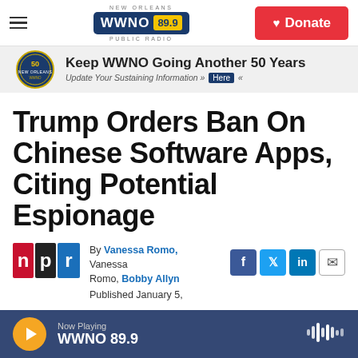WWNO 89.9 New Orleans Public Radio — Donate
[Figure (infographic): WWNO 50th anniversary banner: Keep WWNO Going Another 50 Years. Update Your Sustaining Information >> Here <<]
Trump Orders Ban On Chinese Software Apps, Citing Potential Espionage
By Vanessa Romo, Vanessa Romo, Bobby Allyn — Published January 5,
[Figure (logo): NPR logo — n p r in red, black, blue squares]
Now Playing WWNO 89.9